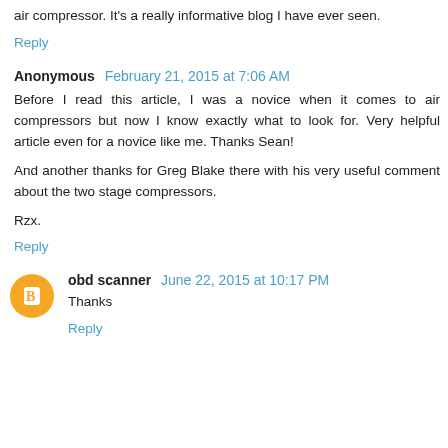air compressor. It's a really informative blog I have ever seen.
Reply
Anonymous  February 21, 2015 at 7:06 AM
Before I read this article, I was a novice when it comes to air compressors but now I know exactly what to look for. Very helpful article even for a novice like me. Thanks Sean!
And another thanks for Greg Blake there with his very useful comment about the two stage compressors.
Rzx.
Reply
obd scanner  June 22, 2015 at 10:17 PM
Thanks
Reply